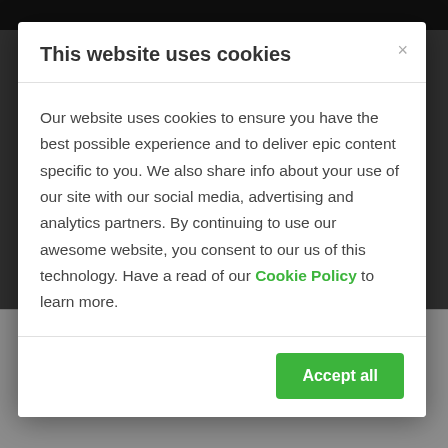This website uses cookies
Our website uses cookies to ensure you have the best possible experience and to deliver epic content specific to you. We also share info about your use of our site with our social media, advertising and analytics partners. By continuing to use our awesome website, you consent to our us of this technology. Have a read of our Cookie Policy to learn more.
Accept all
13 Days   2 To 16
from $2,837 $2,635/ pax